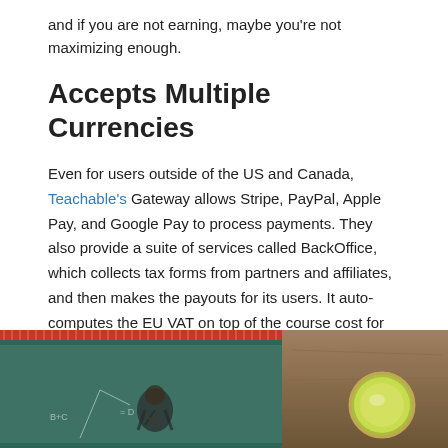and if you are not earning, maybe you're not maximizing enough.
Accepts Multiple Currencies
Even for users outside of the US and Canada, Teachable's Gateway allows Stripe, PayPal, Apple Pay, and Google Pay to process payments. They also provide a suite of services called BackOffice, which collects tax forms from partners and affiliates, and then makes the payouts for its users. It auto-computes the EU VAT on top of the course cost for customers from that region, and remits the taxes to the proper authorities. Although they charge a 2% fee for using BackOffice, it takes away all the hassle from doing the admin work manually.
[Figure (photo): Two tablet/screen images side by side: left shows a person at a chalkboard in a classroom setting, right shows a tablet on a wooden surface with a cup of coffee or matcha latte]